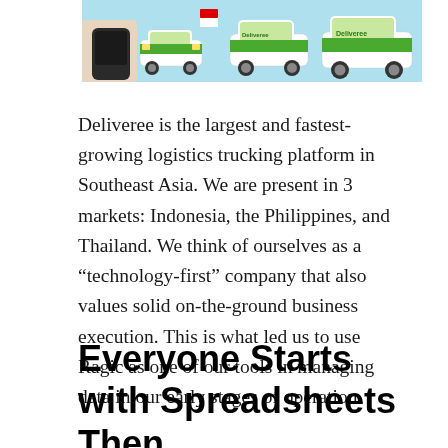[Figure (photo): Top portion of an image showing Deliveree branded delivery vehicles (cars) in green and white livery on a light blue background, with a hand holding a device visible on the left side.]
Deliveree is the largest and fastest-growing logistics trucking platform in Southeast Asia. We are present in 3 markets: Indonesia, the Philippines, and Thailand. We think of ourselves as a “technology-first” company that also values solid on-the-ground business execution. This is what led us to use Ragic as one of our tools in managing data in our early stages of operation.
Everyone Starts with Spreadsheets Then